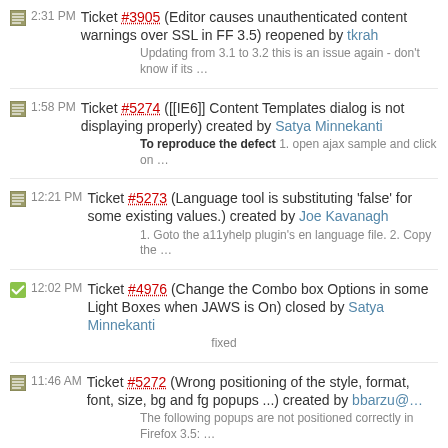2:31 PM Ticket #3905 (Editor causes unauthenticated content warnings over SSL in FF 3.5) reopened by tkrah
Updating from 3.1 to 3.2 this is an issue again - don't know if its …
1:58 PM Ticket #5274 ([[IE6]] Content Templates dialog is not displaying properly) created by Satya Minnekanti
To reproduce the defect 1. open ajax sample and click on …
12:21 PM Ticket #5273 (Language tool is substituting 'false' for some existing values.) created by Joe Kavanagh
1. Goto the a11yhelp plugin's en language file. 2. Copy the …
12:02 PM Ticket #4976 (Change the Combo box Options in some Light Boxes when JAWS is On) closed by Satya Minnekanti
fixed
11:46 AM Ticket #5272 (Wrong positioning of the style, format, font, size, bg and fg popups ...) created by bbarzu@…
The following popups are not positioned correctly in Firefox 3.5: …
11:29 AM Ticket #5271 (Numbers, Bullets and Indent paragraph will clear the Block Styles setting) created by Satya Minnekanti
To Reproduce the defect 1. open ajax sample 2. input some …
10:44 AM Ticket #5270 (CKEditor 3.2 Dialogs in Lotus Domino and IE) created by Janine
Hi, I have integrated CKEditor and Domino successfully, but I have an …
10:20 AM Ticket #5269 (floatpanels for comboboxes are offset left of